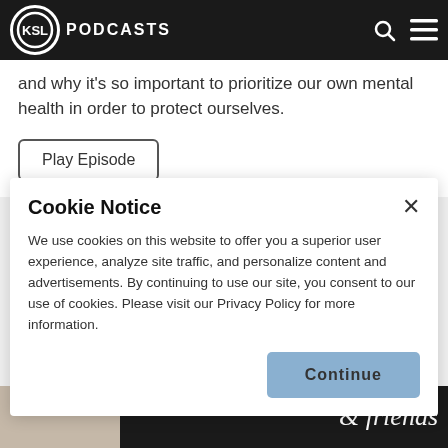KSL PODCASTS
and why it's so important to prioritize our own mental health in order to protect ourselves.
Play Episode
Cookie Notice
We use cookies on this website to offer you a superior user experience, analyze site traffic, and personalize content and advertisements. By continuing to use our site, you consent to our use of cookies. Please visit our Privacy Policy for more information.
Continue
[Figure (screenshot): Bottom portion of a webpage showing partial image of people and italic cursive text 'friends']